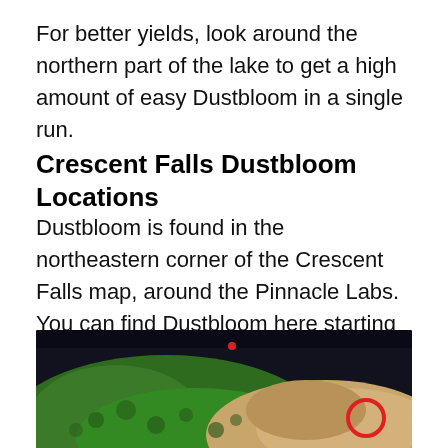For better yields, look around the northern part of the lake to get a high amount of easy Dustbloom in a single run.
Crescent Falls Dustbloom Locations
Dustbloom is found in the northeastern corner of the Crescent Falls map, around the Pinnacle Labs. You can find Dustbloom here starting from the north of Starport Warehouse all the way to the Pinnacle Labs.
[Figure (map): A game map showing the northeastern corner of Crescent Falls. The map shows green forested terrain on the left and tan/sandy terrain on the right. A red circle marks a location on the right side of the map, and a small red dot appears at the top center of the map.]